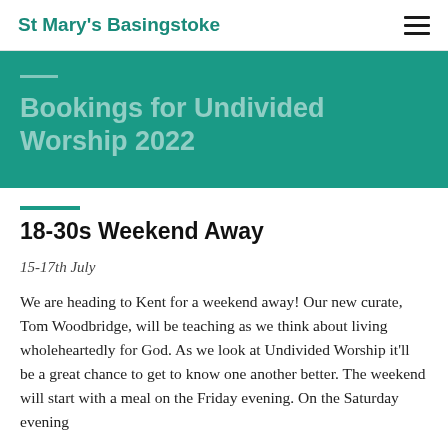St Mary's Basingstoke
Bookings for Undivided Worship 2022
18-30s Weekend Away
15-17th July
We are heading to Kent for a weekend away! Our new curate, Tom Woodbridge, will be teaching as we think about living wholeheartedly for God. As we look at Undivided Worship it'll be a great chance to get to know one another better. The weekend will start with a meal on the Friday evening. On the Saturday evening